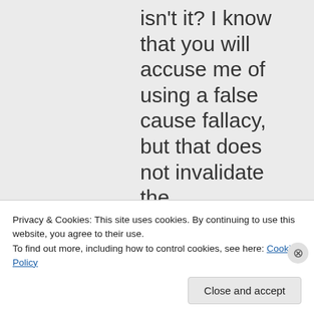isn't it? I know that you will accuse me of using a false cause fallacy, but that does not invalidate the coincidence between increased
Privacy & Cookies: This site uses cookies. By continuing to use this website, you agree to their use.
To find out more, including how to control cookies, see here: Cookie Policy
Close and accept